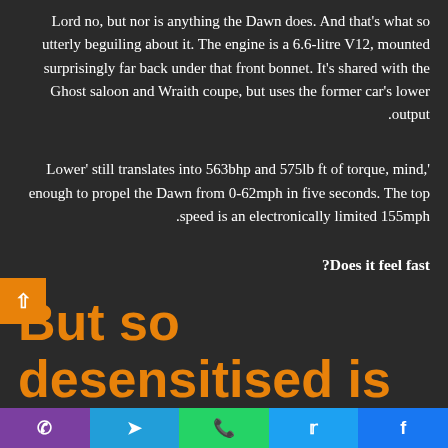Lord no, but nor is anything the Dawn does. And that's what so utterly beguiling about it. The engine is a 6.6-litre V12, mounted surprisingly far back under that front bonnet. It's shared with the Ghost saloon and Wraith coupe, but uses the former car's lower output.
'Lower' still translates into 563bhp and 575lb ft of torque, mind, enough to propel the Dawn from 0-62mph in five seconds. The top speed is an electronically limited 155mph.
Does it feel fast?
But so desensitised is the Dawn that it's all bewilderingly drama-free. There's barely a muster of